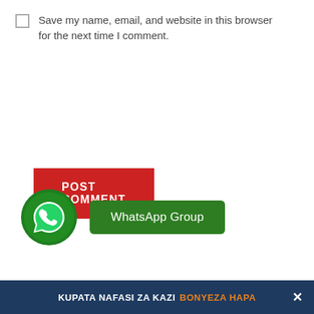Save my name, email, and website in this browser for the next time I comment.
[Figure (other): Red POST COMMENT button]
[Figure (other): WhatsApp Group button with WhatsApp icon circle]
KUPATA NAFASI ZA KAZI BONYEZA HAPA ×